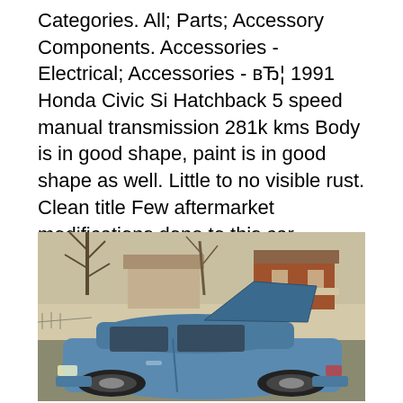Categories. All; Parts; Accessory Components. Accessories - Electrical; Accessories - вЂ¦ 1991 Honda Civic Si Hatchback 5 speed manual transmission 281k kms Body is in good shape, paint is in good shape as well. Little to no visible rust. Clean title Few aftermarket modifications done to this car, essentially OEM+ This car is mechanically sound, needs nothing. Turn key and ready to drive off..
[Figure (photo): Photograph of a blue 1991 Honda Civic Si Hatchback with the hatch open, parked in a suburban driveway. Bare trees and brick houses visible in the background.]